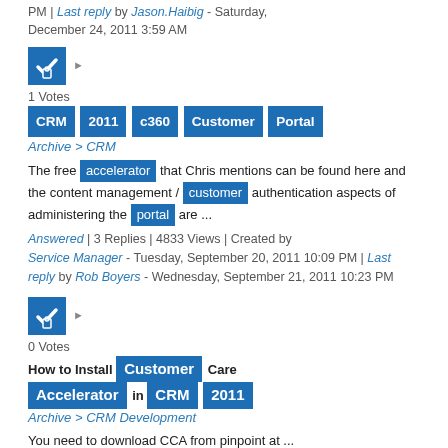PM | Last reply by Jason.Haibig - Saturday, December 24, 2011 3:59 AM
[Figure (other): Blue checkbox with lock icon and arrow indicator]
1 Votes
CRM 2011 c360 Customer Portal
Archive > CRM
The free accelerator that Chris mentions can be found here and the content management / customer authentication aspects of administering the portal are ...
Answered | 3 Replies | 4833 Views | Created by Service Manager - Tuesday, September 20, 2011 10:09 PM | Last reply by Rob Boyers - Wednesday, September 21, 2011 10:23 PM
[Figure (other): Blue checkbox with lock icon and arrow indicator]
0 Votes
How to Install Customer Care Accelerator in CRM 2011
Archive > CRM Development
You need to download CCA from pinpoint at ...
Answered | 1 Replies | 2719 Views | Created by Sandra.CRM - Monday, July 16, 2012 5:50 AM | Last reply by Sam - Inogic - Monday, July 16,